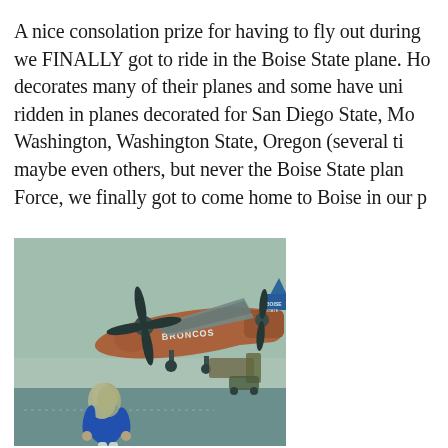A nice consolation prize for having to fly out during we FINALLY got to ride in the Boise State plane. Ho decorates many of their planes and some have uni ridden in planes decorated for San Diego State, Mo Washington, Washington State, Oregon (several ti maybe even others, but never the Boise State plan Force, we finally got to come home to Boise in our p
[Figure (photo): A woman in a blue sweatshirt standing on an airport tarmac in front of a Boise State Broncos branded turboprop plane (orange fuselage with 'Broncos' text). The plane has prominent propellers and a tail with Boise State branding. The scene has a teal/sepia vintage photo filter.]